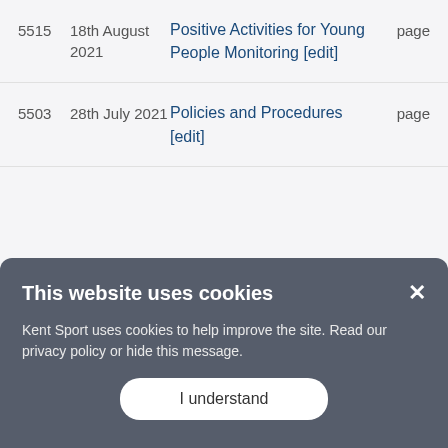| ID | Date | Title | Type |
| --- | --- | --- | --- |
| 5515 | 18th August 2021 | Positive Activities for Young People Monitoring [edit] | page |
| 5503 | 28th July 2021 | Policies and Procedures [edit] | page |
This website uses cookies
Kent Sport uses cookies to help improve the site. Read our privacy policy or hide this message.
I understand